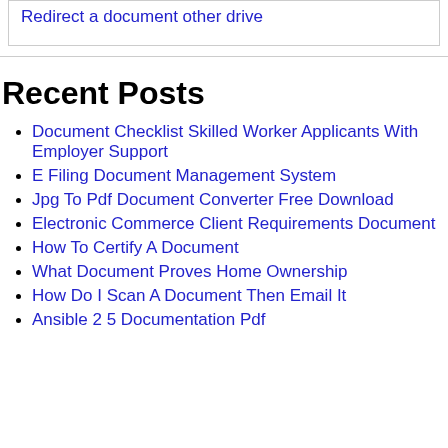Redirect a document other drive
Recent Posts
Document Checklist Skilled Worker Applicants With Employer Support
E Filing Document Management System
Jpg To Pdf Document Converter Free Download
Electronic Commerce Client Requirements Document
How To Certify A Document
What Document Proves Home Ownership
How Do I Scan A Document Then Email It
Ansible 2 5 Documentation Pdf